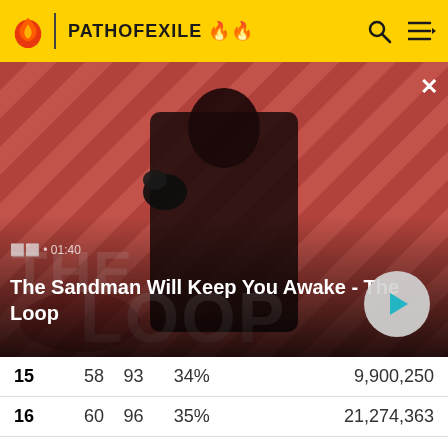PATHOFEXILE 🔥
[Figure (screenshot): Video thumbnail showing a dark figure with a raven on their shoulder against a red diagonal striped background. Title card reads 'THE LOOP'. Timestamp shows 01:40. Title text: 'The Sandman Will Keep You Awake - The Loop']
| # |  |  | % |  | Views |
| --- | --- | --- | --- | --- | --- |
| 15 | 58 | 93 | 34% |  | 9,900,250 |
| 16 | 60 | 96 | 35% |  | 21,274,363 |
| 17 | 62 | 99 | 36% |  | 50,550,118 |
| 18 | 64 | 102 | 37% |  | 89,834,713 |